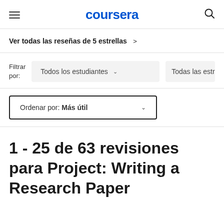coursera
Ver todas las reseñas de 5 estrellas >
Filtrar por: Todos los estudiantes  Todas las estr
Ordenar por: Más útil
1 - 25 de 63 revisiones para Project: Writing a Research Paper